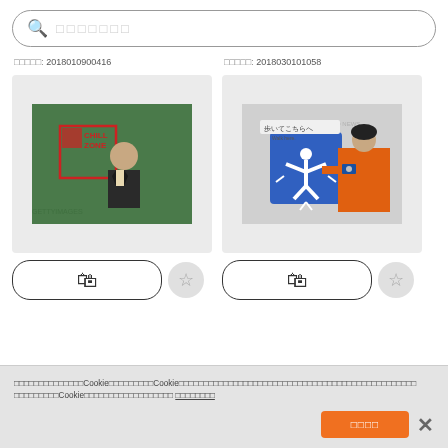□□□□□□□ (search bar placeholder)
□□□□□: 2018010900416
□□□□□: 2018030101058
[Figure (photo): Man in suit in front of green CHILL ZONE sign]
[Figure (photo): Person in orange uniform holding blue walk here sign]
Cookie notice text in Japanese mentioning Cookie usage policy with accept button